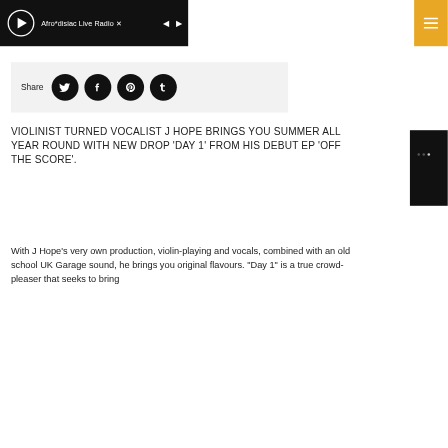Afro*disiac Live Radio
[Figure (screenshot): Share bar with Twitter, Facebook, Pinterest, and Tumblr social media icon buttons on a light grey background]
VIOLINIST TURNED VOCALIST J HOPE BRINGS YOU SUMMER ALL YEAR ROUND WITH NEW DROP 'DAY 1' FROM HIS DEBUT EP 'OFF THE SCORE'.
With J Hope's very own production, violin-playing and vocals, combined with an old school UK Garage sound, he brings you original flavours. "Day 1" is a true crowd-pleaser that seeks to bring